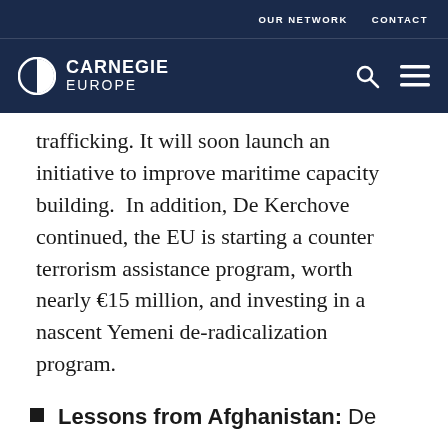OUR NETWORK   CONTACT
[Figure (logo): Carnegie Europe logo with circular icon and white text on dark navy background, with search and menu icons]
trafficking. It will soon launch an initiative to improve maritime capacity building.  In addition, De Kerchove continued, the EU is starting a counter terrorism assistance program, worth nearly €15 million, and investing in a nascent Yemeni de-radicalization program.
Lessons from Afghanistan: De